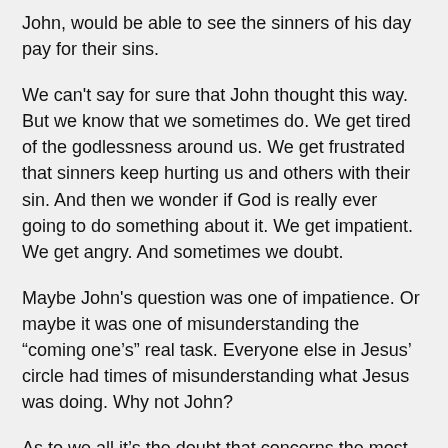John, would be able to see the sinners of his day pay for their sins.
We can't say for sure that John thought this way. But we know that we sometimes do. We get tired of the godlessness around us. We get frustrated that sinners keep hurting us and others with their sin. And then we wonder if God is really ever going to do something about it. We get impatient. We get angry. And sometimes we doubt.
Maybe John's question was one of impatience. Or maybe it was one of misunderstanding the “coming one’s” real task. Everyone else in Jesus’ circle had times of misunderstanding what Jesus was doing. Why not John?
As to we all it's the doubt that concerns the most...